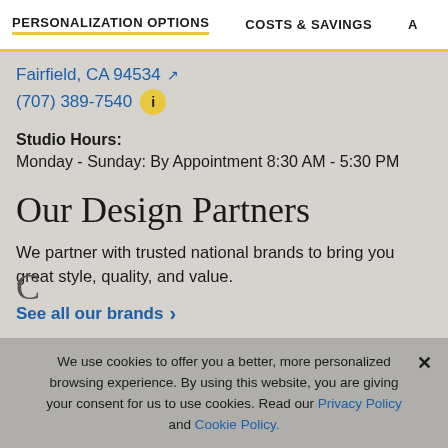PERSONALIZATION OPTIONS   COSTS & SAVINGS   A
Fairfield, CA 94534
(707) 389-7540
Studio Hours:
Monday - Sunday: By Appointment 8:30 AM - 5:30 PM
Our Design Partners
We partner with trusted national brands to bring you great style, quality, and value.
See all our brands ›
We use cookies to offer you a better, more personalized browsing experience. By using this website, you are giving your consent for us to use cookies. Read our Privacy Policy and Cookie Policy.